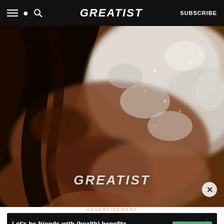GREATIST | SUBSCRIBE
[Figure (photo): Close-up photo of chocolate brownies or baked chocolate dessert dusted with powdered sugar, with the Greatist logo watermark overlaid on the image. A close (X) button appears in the bottom right corner of the image.]
ADVERTISEMENT
[Figure (infographic): Advertisement banner with dark background and decorative icons. Text reads: Let's be friends with (health) benefits. Follow GREATIST on Instagram. A green FOLLOW US button appears on the right.]